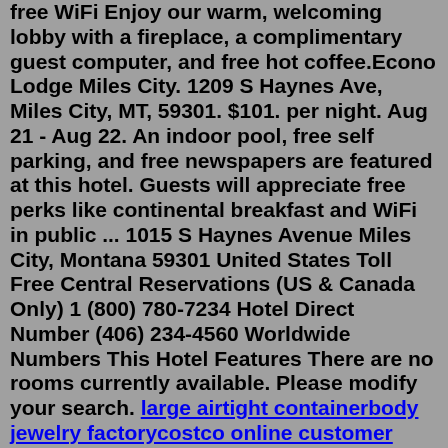free WiFi Enjoy our warm, welcoming lobby with a fireplace, a complimentary guest computer, and free hot coffee.Econo Lodge Miles City. 1209 S Haynes Ave, Miles City, MT, 59301. $101. per night. Aug 21 - Aug 22. An indoor pool, free self parking, and free newspapers are featured at this hotel. Guests will appreciate free perks like continental breakfast and WiFi in public ... 1015 S Haynes Avenue Miles City, Montana 59301 United States Toll Free Central Reservations (US & Canada Only) 1 (800) 780-7234 Hotel Direct Number (406) 234-4560 Worldwide Numbers This Hotel Features There are no rooms currently available. Please modify your search. large airtight containerbody jewelry factorycostco online customer servicedaily edited phone casedisney dvd collection 172 moviesbest rewards credit card redditfree ttf fontscase manager salarysuron bikesdovercourt holiday parkcorning ware cornflower bluea frame house kit xo